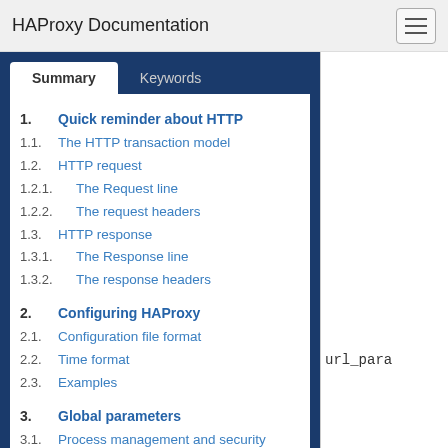HAProxy Documentation
Summary | Keywords (tabs)
1.  Quick reminder about HTTP
1.1.  The HTTP transaction model
1.2.  HTTP request
1.2.1.  The Request line
1.2.2.  The request headers
1.3.  HTTP response
1.3.1.  The Response line
1.3.2.  The response headers
2.  Configuring HAProxy
2.1.  Configuration file format
2.2.  Time format
2.3.  Examples
3.  Global parameters
3.1.  Process management and security
3.2.  Performance tuning
url_para